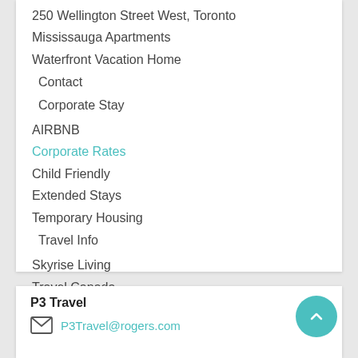250 Wellington Street West, Toronto
Mississauga Apartments
Waterfront Vacation Home
Contact
Corporate Stay
AIRBNB
Corporate Rates
Child Friendly
Extended Stays
Temporary Housing
Travel Info
Skyrise Living
Travel Canada
Travel Info
Cruise list
Blog
P3 Travel
P3Travel@rogers.com